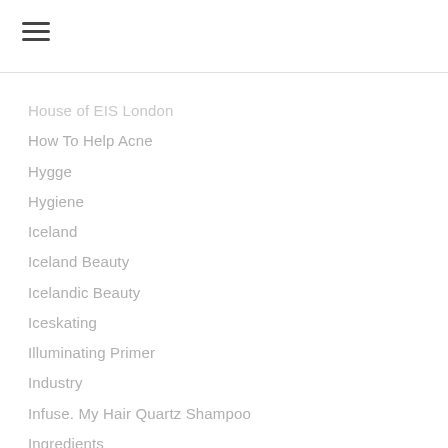≡
House of EIS London
How To Help Acne
Hygge
Hygiene
Iceland
Iceland Beauty
Icelandic Beauty
Iceskating
Illuminating Primer
Industry
Infuse. My Hair Quartz Shampoo
Ingredients
Innovation
Intensive Repair Solid Shampoo L'occitane
Italy
Jane Iredale
John Lewis Chocolate Box
Jon Snow